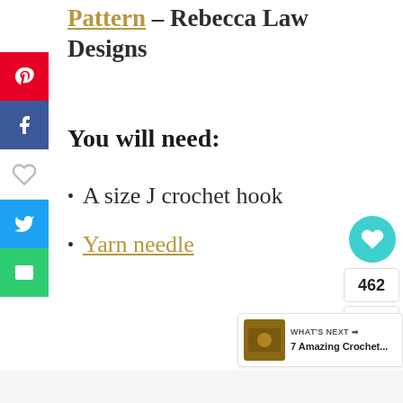Pattern – Rebecca Law Designs
You will need:
A size J crochet hook
Yarn needle